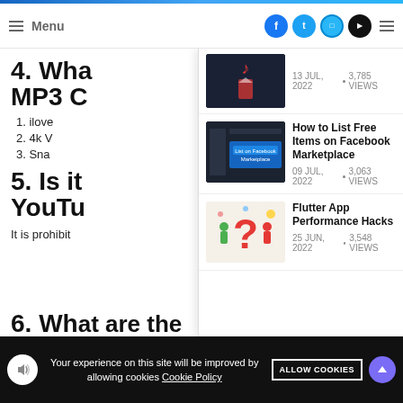Menu | Social icons: Facebook, Twitter, Instagram, YouTube
4. Wha MP3 C
1. ilove
2. 4k V
3. Sna
[Figure (screenshot): Thumbnail of an article - dark background with a red music icon]
13 JUL, 2022 • 3,785 VIEWS
[Figure (screenshot): Thumbnail showing Facebook Marketplace listing interface with blue button]
How to List Free Items on Facebook Marketplace
09 JUL, 2022 • 3,063 VIEWS
[Figure (illustration): Illustration with a large red question mark and figures of people]
Flutter App Performance Hacks
25 JUN, 2022 • 3,548 VIEWS
5. Is it YouTu
It is prohibit
6. What are the steps for revi...
Your experience on this site will be improved by allowing cookies Cookie Policy  ALLOW COOKIES